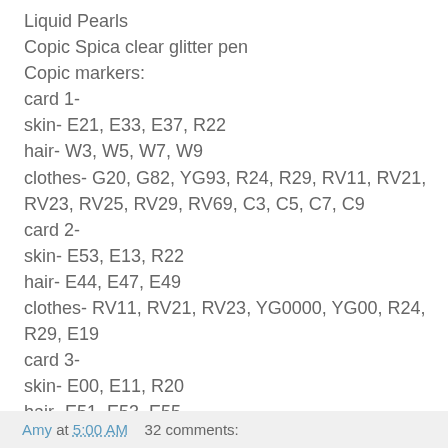Liquid Pearls
Copic Spica clear glitter pen
Copic markers:
card 1-
skin- E21, E33, E37, R22
hair- W3, W5, W7, W9
clothes- G20, G82, YG93, R24, R29, RV11, RV21, RV23, RV25, RV29, RV69, C3, C5, C7, C9
card 2-
skin- E53, E13, R22
hair- E44, E47, E49
clothes- RV11, RV21, RV23, YG0000, YG00, R24, R29, E19
card 3-
skin- E00, E11, R20
hair- E51, E53, E55
clothes- RV23, RV25, RV29, RV69, G20, G82, YG93, RV11, RV21, YG0000, YG00, Y0000, Y00
Amy at 5:00 AM    32 comments: